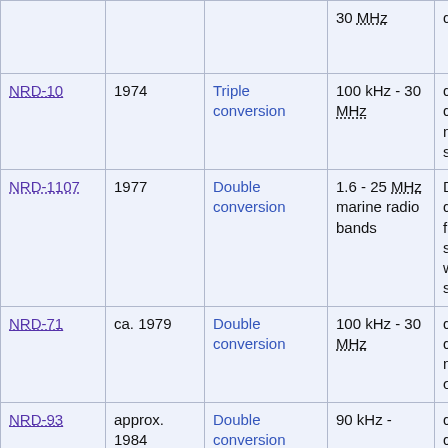|  |  |  | 30 MHz | display |
| NRD-10 | 1974 | Triple conversion | 100 kHz - 30 MHz | digital display, 16 memories, solid state |
| NRD-1107 | 1977 | Double conversion | 1.6 - 25 MHz marine radio bands | Digital display, frequency selection with decade switches |
| NRD-71 | ca. 1979 | Double conversion | 100 kHz - 30 MHz | digital display, memory option |
| NRD-93 | approx. 1984 | Double conversion | 90 kHz - | digital display, 60 |